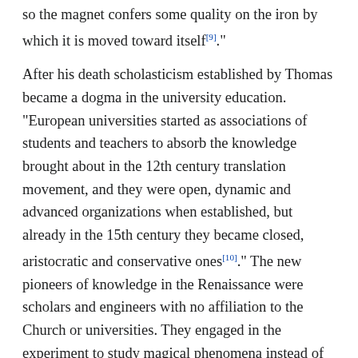so the magnet confers some quality on the iron by which it is moved toward itself[9]."
After his death scholasticism established by Thomas became a dogma in the university education. “European universities started as associations of students and teachers to absorb the knowledge brought about in the 12th century translation movement, and they were open, dynamic and advanced organizations when established, but already in the 15th century they became closed, aristocratic and conservative ones[10].” The new pioneers of knowledge in the Renaissance were scholars and engineers with no affiliation to the Church or universities. They engaged in the experiment to study magical phenomena instead of the interpretation of texts.
The first example was Petrus Peregrinus (Pierre Pelerin de Maricourt), a French engineer who wrote in 1269 the